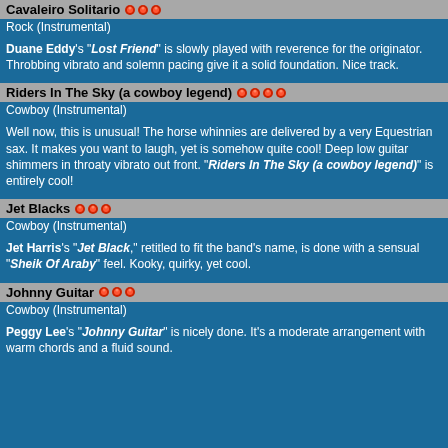Cavaleiro Solitario ●●●
Rock (Instrumental)
Duane Eddy's "Lost Friend" is slowly played with reverence for the originator. Throbbing vibrato and solemn pacing give it a solid foundation. Nice track.
Riders In The Sky (a cowboy legend) ●●●●
Cowboy (Instrumental)
Well now, this is unusual! The horse whinnies are delivered by a very Equestrian sax. It makes you want to laugh, yet is somehow quite cool! Deep low guitar shimmers in throaty vibrato out front. "Riders In The Sky (a cowboy legend)" is entirely cool!
Jet Blacks ●●●
Cowboy (Instrumental)
Jet Harris's "Jet Black," retitled to fit the band's name, is done with a sensual "Sheik Of Araby" feel. Kooky, quirky, yet cool.
Johnny Guitar ●●●
Cowboy (Instrumental)
Peggy Lee's "Johnny Guitar" is nicely done. It's a moderate arrangement with warm chords and a fluid sound.